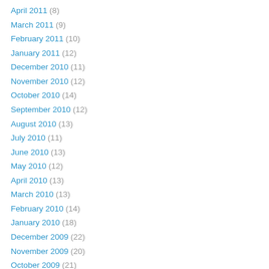April 2011 (8)
March 2011 (9)
February 2011 (10)
January 2011 (12)
December 2010 (11)
November 2010 (12)
October 2010 (14)
September 2010 (12)
August 2010 (13)
July 2010 (11)
June 2010 (13)
May 2010 (12)
April 2010 (13)
March 2010 (13)
February 2010 (14)
January 2010 (18)
December 2009 (22)
November 2009 (20)
October 2009 (21)
September 2009 (21)